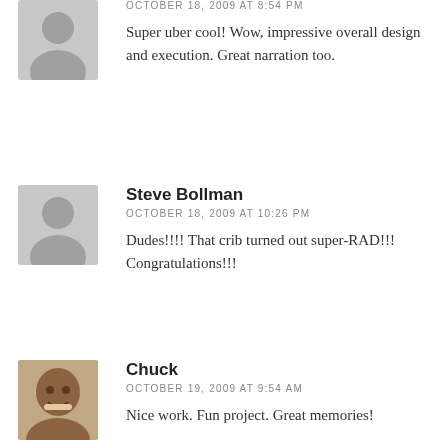OCTOBER 18, 2009 AT 8:54 PM
Super uber cool! Wow, impressive overall design and execution. Great narration too.
Steve Bollman
OCTOBER 18, 2009 AT 10:26 PM
Dudes!!!! That crib turned out super-RAD!!! Congratulations!!!
Chuck
OCTOBER 19, 2009 AT 9:54 AM
Nice work. Fun project. Great memories!